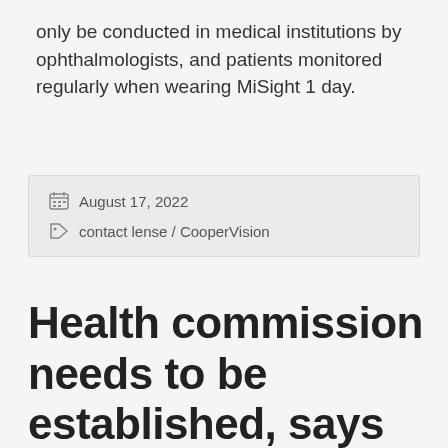only be conducted in medical institutions by ophthalmologists, and patients monitored regularly when wearing MiSight 1 day.
August 17, 2022
contact lense / CooperVision
Health commission needs to be established, says Health experts